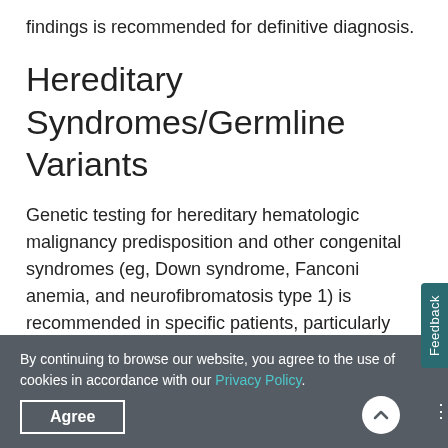findings is recommended for definitive diagnosis.
Hereditary Syndromes/Germline Variants
Genetic testing for hereditary hematologic malignancy predisposition and other congenital syndromes (eg, Down syndrome, Fanconi anemia, and neurofibromatosis type 1) is recommended in specific patients, particularly younger patients, with MDSs.¹ Such conditions may account for cytopenias with or without MDS.¹ Further testing
By continuing to browse our website, you agree to the use of cookies in accordance with our Privacy Policy.
Agree